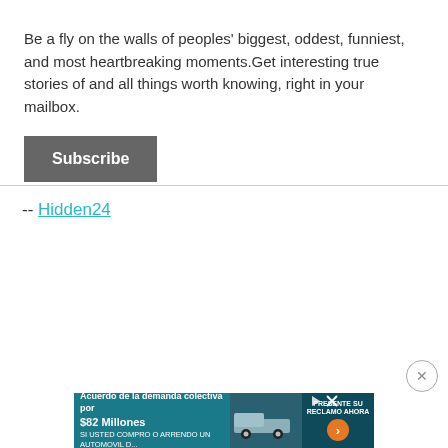Be a fly on the walls of peoples' biggest, oddest, funniest, and most heartbreaking moments.Get interesting true stories of and all things worth knowing, right in your mailbox.
Subscribe
-- Hidden24
[Figure (screenshot): Advertisement banner: 'Acuerdo de la demanda colectiva por $82 Millones' with car image and 'PRESENTE SU RECLAMO AHORA' button]